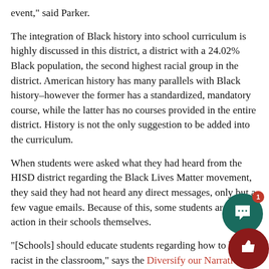event," said Parker.
The integration of Black history into school curriculum is highly discussed in this district, a district with a 24.02% Black population, the second highest racial group in the district. American history has many parallels with Black history–however the former has a standardized, mandatory course, while the latter has no courses provided in the entire district. History is not the only suggestion to be added into the curriculum.
When students were asked what they had heard from the HISD district regarding the Black Lives Matter movement, they said they had not heard any direct messages, only but a few vague emails. Because of this, some students are taking action in their schools themselves.
"[Schools] should educate students regarding how to be anti racist in the classroom," says the Diversify our Narrative: The petition to Texas public schools. "High school is an optimal to incorporate anti-racist narratives into curriculum."